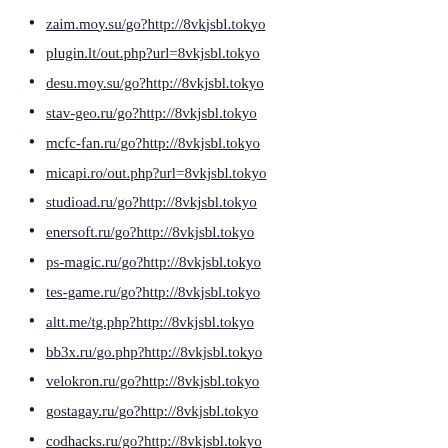zaim.moy.su/go?http://8vkjsbl.tokyo
plugin.lt/out.php?url=8vkjsbl.tokyo
desu.moy.su/go?http://8vkjsbl.tokyo
stav-geo.ru/go?http://8vkjsbl.tokyo
mcfc-fan.ru/go?http://8vkjsbl.tokyo
micapi.ro/out.php?url=8vkjsbl.tokyo
studioad.ru/go?http://8vkjsbl.tokyo
enersoft.ru/go?http://8vkjsbl.tokyo
ps-magic.ru/go?http://8vkjsbl.tokyo
tes-game.ru/go?http://8vkjsbl.tokyo
altt.me/tg.php?http://8vkjsbl.tokyo
bb3x.ru/go.php?http://8vkjsbl.tokyo
velokron.ru/go?http://8vkjsbl.tokyo
gostagay.ru/go?http://8vkjsbl.tokyo
codhacks.ru/go?http://8vkjsbl.tokyo
cs-lords.ru/go?http://8vkjsbl.tokyo
prlog.ru/analysis/www.8vkjsbl.tokyo
kuklaskorner.com/?URL=8vkjsbl.tokyo
pachl.de/url?q=http://8vkjsbl.tokyo